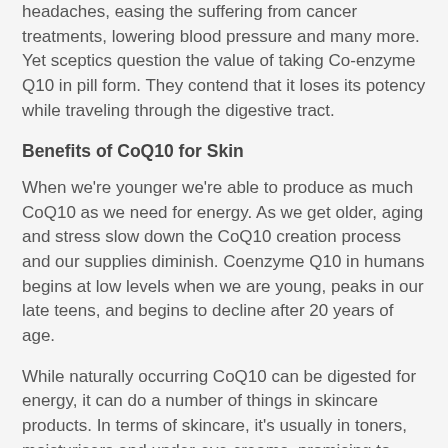headaches, easing the suffering from cancer treatments, lowering blood pressure and many more. Yet sceptics question the value of taking Co-enzyme Q10 in pill form. They contend that it loses its potency while traveling through the digestive tract.
Benefits of CoQ10 for Skin
When we're younger we're able to produce as much CoQ10 as we need for energy. As we get older, aging and stress slow down the CoQ10 creation process and our supplies diminish. Coenzyme Q10 in humans begins at low levels when we are young, peaks in our late teens, and begins to decline after 20 years of age.
While naturally occurring CoQ10 can be digested for energy, it can do a number of things in skincare products. In terms of skincare, it's usually in toners, moisturisers and under-eye creams, promising to help stimulate collagen production, even skin tone, reduce sun damage and the appearance of fine lines.